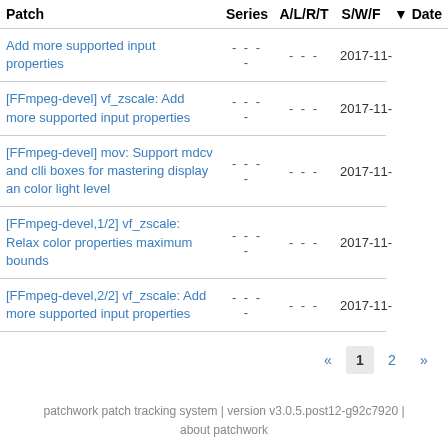| Patch | Series | A/L/R/T | S/W/F | Date |
| --- | --- | --- | --- | --- |
| Add more supported input properties | - - - - | - - - | 2017-11- |
| [FFmpeg-devel] vf_zscale: Add more supported input properties | - - - - | - - - | 2017-11- |
| [FFmpeg-devel] mov: Support mdcv and clli boxes for mastering display an color light level | - - - - | - - - | 2017-11- |
| [FFmpeg-devel,1/2] vf_zscale: Relax color properties maximum bounds | - - - - | - - - | 2017-11- |
| [FFmpeg-devel,2/2] vf_zscale: Add more supported input properties | - - - - | - - - | 2017-11- |
patchwork patch tracking system | version v3.0.5.post12-g92c7920 | about patchwork